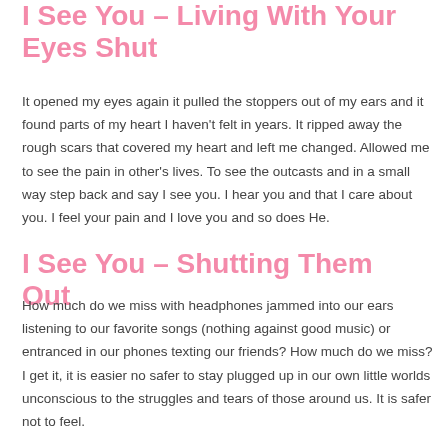I See You – Living With Your Eyes Shut
It opened my eyes again it pulled the stoppers out of my ears and it found parts of my heart I haven't felt in years. It ripped away the rough scars that covered my heart and left me changed. Allowed me to see the pain in other's lives. To see the outcasts and in a small way step back and say I see you. I hear you and that I care about you. I feel your pain and I love you and so does He.
I See You – Shutting Them Out
How much do we miss with headphones jammed into our ears listening to our favorite songs (nothing against good music) or entranced in our phones texting our friends? How much do we miss? I get it, it is easier no safer to stay plugged up in our own little worlds unconscious to the struggles and tears of those around us. It is safer not to feel.